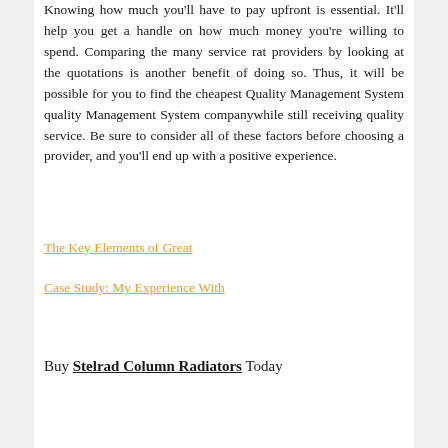Knowing how much you'll have to pay upfront is essential. It'll help you get a handle on how much money you're willing to spend. Comparing the many service rat providers by looking at the quotations is another benefit of doing so. Thus, it will be possible for you to find the cheapest Quality Management System quality Management System companywhile still receiving quality service. Be sure to consider all of these factors before choosing a provider, and you'll end up with a positive experience.
The Key Elements of Great
Case Study: My Experience With
Buy Stelrad Column Radiators Today